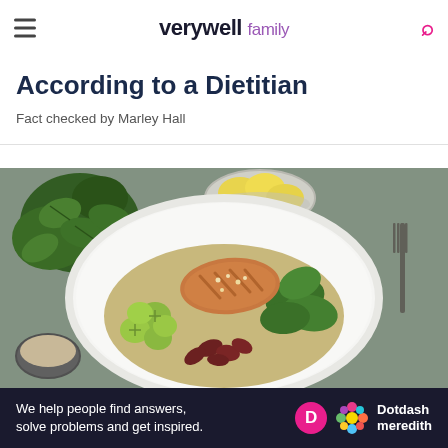verywell family
According to a Dietitian
Fact checked by Marley Hall
[Figure (photo): Overhead view of a healthy grain bowl with grilled salmon, spinach leaves, brussels sprouts, kidney beans, and a white bowl of dressing. Green spinach leaves scattered in top left corner.]
BABIES
What Should You Eat When You're
Ad
We help people find answers, solve problems and get inspired. Dotdash meredith